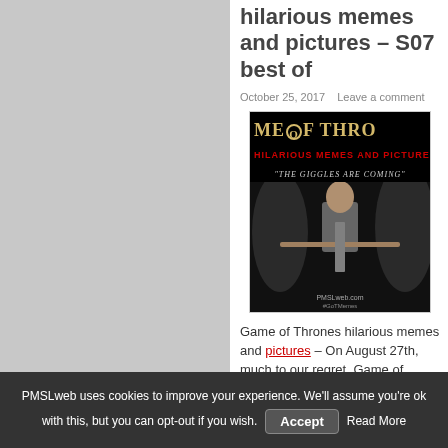hilarious memes and pictures – S07 best of
October 25, 2017   Leave a comment
[Figure (photo): Game of Thrones parody meme image with text 'ME OF THRO', 'HILARIOUS MEMES AND PICTURES', 'THE GIGGLES ARE COMING', and a figure holding a sword.]
Game of Thrones hilarious memes and pictures – On August 27th, much to our regret, Game of Thrones season 7 finale was aired. To add to the frustration, not only was this season three episodes shorter than usual, but it's still unclear to this day when exactly the show will
PMSLweb uses cookies to improve your experience. We'll assume you're ok with this, but you can opt-out if you wish.   Accept   Read More